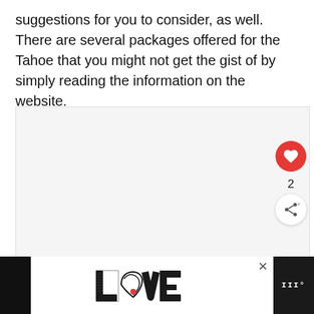suggestions for you to consider, as well. There are several packages offered for the Tahoe that you might not get the gist of by simply reading the information on the website.
[Figure (screenshot): A screenshot area showing a video/image player with UI overlay elements: a red heart/like button, a like count of 2, a share button, a 'WHAT'S NEXT' panel showing a thumbnail and title 'Will Disconnecti...', and three navigation dots.]
[Figure (screenshot): Bottom advertisement banner showing a decorative 'LOVE' text logo and a dark sidebar with an app icon. An X close button is visible.]